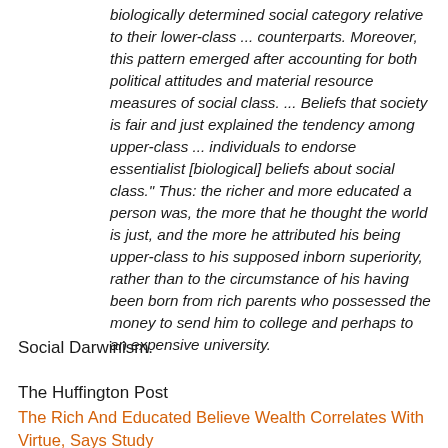biologically determined social category relative to their lower-class ... counterparts. Moreover, this pattern emerged after accounting for both political attitudes and material resource measures of social class. ... Beliefs that society is fair and just explained the tendency among upper-class ... individuals to endorse essentialist [biological] beliefs about social class." Thus: the richer and more educated a person was, the more that he thought the world is just, and the more he attributed his being upper-class to his supposed inborn superiority, rather than to the circumstance of his having been born from rich parents who possessed the money to send him to college and perhaps to an expensive university.
Social Darwinism.
The Huffington Post
The Rich And Educated Believe Wealth Correlates With Virtue, Says Study